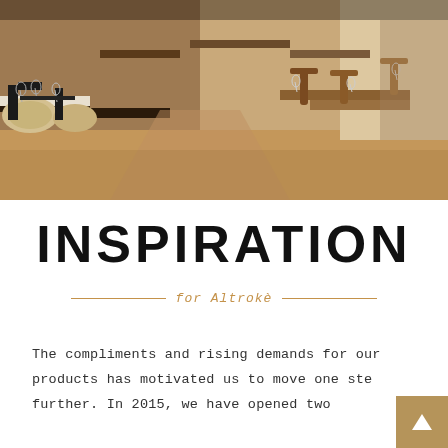[Figure (photo): Interior of a restaurant with wooden tables, chairs with sheepskin covers, wine glasses, and a warm ambiance. Light wood flooring and brick walls visible in background.]
INSPIRATION
for Altrokè
The compliments and rising demands for our products has motivated us to move one step further. In 2015, we have opened two